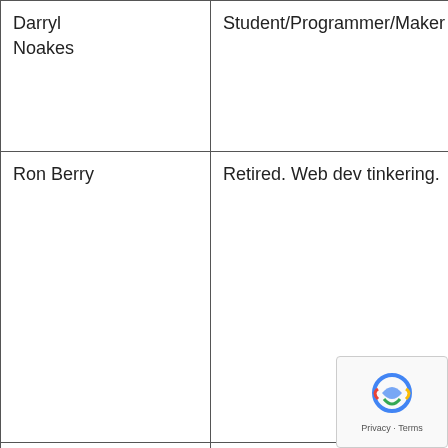| Name | Role/Title | Location | Notes |
| --- | --- | --- | --- |
| Darryl Noakes | Student/Programmer/Maker | Jamaica |  |
| Ron Berry | Retired. Web dev tinkering. | Melbourne, Australia | Any to k on t a g |
| Selçuk Dursun | Asst. Prof. /METU | Ankara, Turkey |  |
| Tom Callahan | UX Engineer | United States |  |
| Pauline Piekos | Deputy Director/PMP | London | ma |